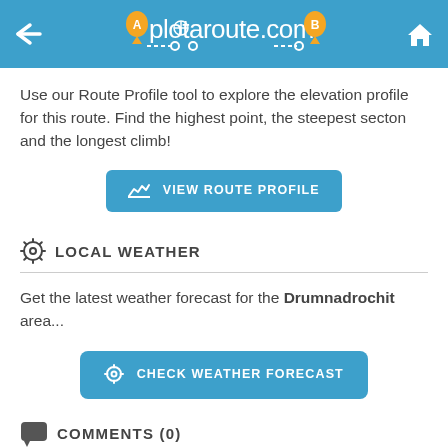plotaroute.com
Use our Route Profile tool to explore the elevation profile for this route. Find the highest point, the steepest secton and the longest climb!
[Figure (other): VIEW ROUTE PROFILE button in blue]
LOCAL WEATHER
Get the latest weather forecast for the Drumnadrochit area...
[Figure (other): CHECK WEATHER FORECAST button in blue]
COMMENTS (0)